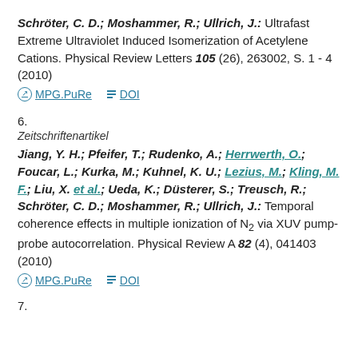Schröter, C. D.; Moshammer, R.; Ullrich, J.: Ultrafast Extreme Ultraviolet Induced Isomerization of Acetylene Cations. Physical Review Letters 105 (26), 263002, S. 1 - 4 (2010)
MPG.PuRe   DOI
6.
Zeitschriftenartikel
Jiang, Y. H.; Pfeifer, T.; Rudenko, A.; Herrwerth, O.; Foucar, L.; Kurka, M.; Kuhnel, K. U.; Lezius, M.; Kling, M. F.; Liu, X. et al.; Ueda, K.; Düsterer, S.; Treusch, R.; Schröter, C. D.; Moshammer, R.; Ullrich, J.: Temporal coherence effects in multiple ionization of N2 via XUV pump-probe autocorrelation. Physical Review A 82 (4), 041403 (2010)
MPG.PuRe   DOI
7.